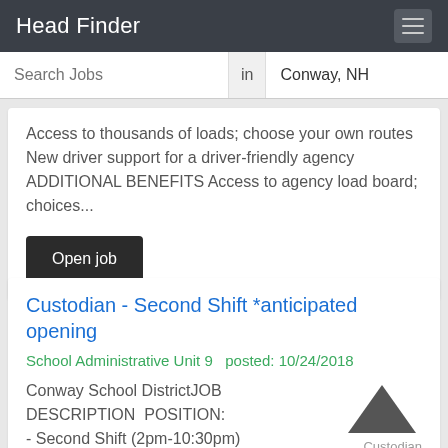Head Finder
Search Jobs  in  Conway, NH  Search
Access to thousands of loads; choose your own routes New driver support for a driver-friendly agency ADDITIONAL BENEFITS Access to agency load board; choices...
Open job
Custodian - Second Shift *anticipated opening
School Administrative Unit 9   posted: 10/24/2018
Conway School DistrictJOB DESCRIPTION  POSITION: - Second Shift (2pm-10:30pm)